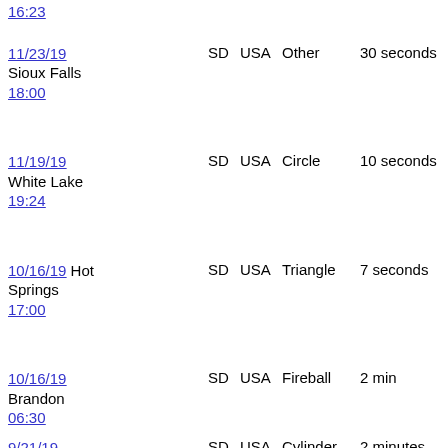| Date/Time | City | State | Country | Shape | Duration |
| --- | --- | --- | --- | --- | --- |
| 16:23 |  |  |  |  |  |
| 11/23/19 18:00 | Sioux Falls | SD | USA | Other | 30 seconds |
| 11/19/19 19:24 | White Lake | SD | USA | Circle | 10 seconds |
| 10/16/19 17:00 | Hot Springs | SD | USA | Triangle | 7 seconds |
| 10/16/19 06:30 | Brandon | SD | USA | Fireball | 2 min |
| 9/21/19 21:00 | Mankato | SD | USA | Cylinder | 2 minutes |
| 7/26/19 02:00 | St. Francis | SD | USA | Disk | 12:00 to 3:00 |